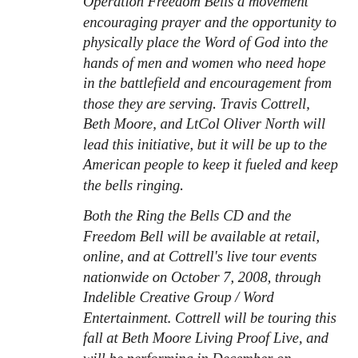Operation Freedom Bells a movement encouraging prayer and the opportunity to physically place the Word of God into the hands of men and women who need hope in the battlefield and encouragement from those they are serving. Travis Cottrell, Beth Moore, and LtCol Oliver North will lead this initiative, but it will be up to the American people to keep it fueled and keep the bells ringing.
Both the Ring the Bells CD and the Freedom Bell will be available at retail, online, and at Cottrell's live tour events nationwide on October 7, 2008, through Indelible Creative Group / Word Entertainment. Cottrell will be touring this fall at Beth Moore Living Proof Live, and will be performing in December on Compassion International's Gloria tour with Cindy